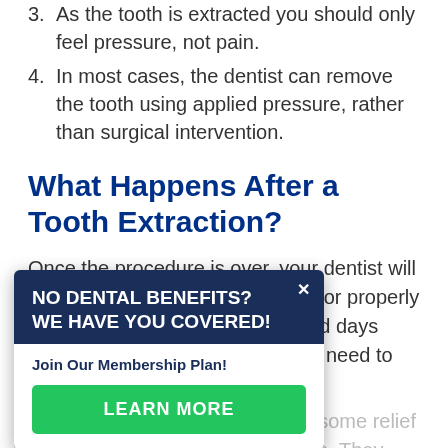3. As the tooth is extracted you should only feel pressure, not pain.
4. In most cases, the dentist can remove the tooth using applied pressure, rather than surgical intervention.
What Happens After a Tooth Extraction?
Once the procedure is over, your dentist will send you home with instructions for properly caring for the site in the hours and days following oral removal. You might need to bite down on the site with gauze.
also be given medication to give some relief in the days following an extraction. They may also advise following:
[Figure (screenshot): Popup modal with dark blue header reading 'NO DENTAL BENEFITS? WE HAVE YOU COVERED!' with a close X button, white body with text 'Join Our Membership Plan!' and a green 'LEARN MORE' button.]